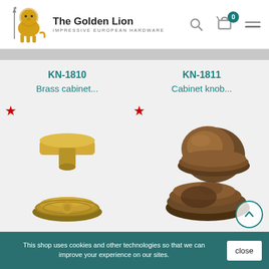[Figure (logo): The Golden Lion logo with golden lion illustration, brand name 'The Golden Lion' and tagline 'IMPRESSIVE EUROPEAN HARDWARE', plus search icon, cart with badge showing 0, and hamburger menu]
KN-1810
Brass cabinet...
KN-1811
Cabinet knob...
[Figure (photo): Brass cabinet knob KN-1810 shown from front and side/back, golden brass finish]
[Figure (photo): Cabinet knob KN-1811 shown from front and side, antique bronze/brown finish]
This shop uses cookies and other technologies so that we can improve your experience on our sites.